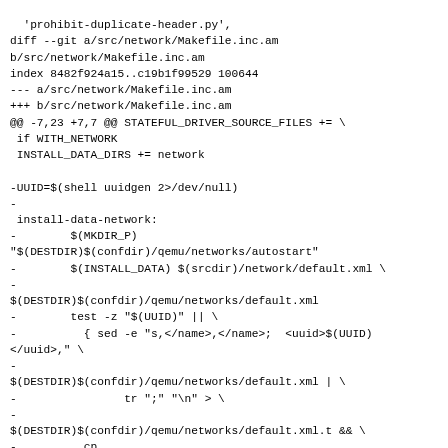'prohibit-duplicate-header.py',
diff --git a/src/network/Makefile.inc.am
b/src/network/Makefile.inc.am
index 8482f924a15..c19b1f99529 100644
--- a/src/network/Makefile.inc.am
+++ b/src/network/Makefile.inc.am
@@ -7,23 +7,7 @@ STATEFUL_DRIVER_SOURCE_FILES += \
 if WITH_NETWORK
 INSTALL_DATA_DIRS += network

-UUID=$(shell uuidgen 2>/dev/null)
-
 install-data-network:
-        $(MKDIR_P)
"$(DESTDIR)$(confdir)/qemu/networks/autostart"
-        $(INSTALL_DATA) $(srcdir)/network/default.xml \
-
$(DESTDIR)$(confdir)/qemu/networks/default.xml
-        test -z "$(UUID)" || \
-          { sed -e "s,</name>,</name>;  <uuid>$(UUID)
</uuid>," \
-
$(DESTDIR)$(confdir)/qemu/networks/default.xml | \
-                tr ";" "\n" > \
-
$(DESTDIR)$(confdir)/qemu/networks/default.xml.t && \
-          cp
$(DESTDIR)$(confdir)/qemu/networks/default.xml.t \
-
$(DESTDIR)$(confdir)/qemu/networks/default.xml && \